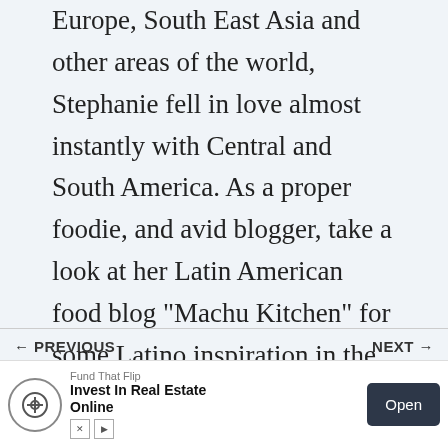Europe, South East Asia and other areas of the world, Stephanie fell in love almost instantly with Central and South America. As a proper foodie, and avid blogger, take a look at her Latin American food blog "Machu Kitchen" for some Latino inspiration in the kitchen.
← PREVIOUS
NEXT →
Travel in Auckland
How to catch a
[Figure (other): Advertisement banner: Fund That Flip - Invest In Real Estate Online with Open button and app store badges]